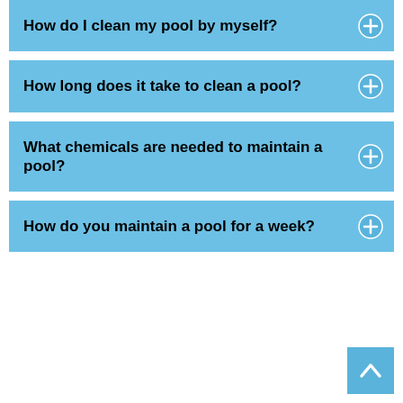How do I clean my pool by myself?
How long does it take to clean a pool?
What chemicals are needed to maintain a pool?
How do you maintain a pool for a week?